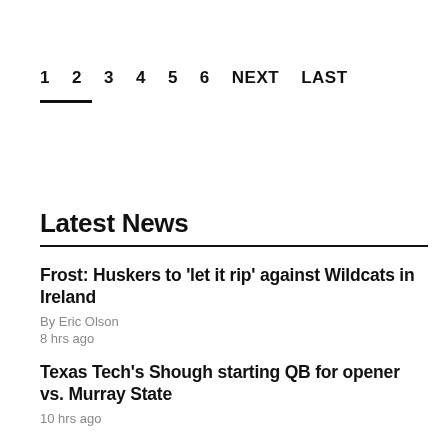1  2  3  4  5  6  NEXT  LAST
Latest News
Frost: Huskers to 'let it rip' against Wildcats in Ireland
By Eric Olson
8 hrs ago
Texas Tech's Shough starting QB for opener vs. Murray State
10 hrs ago